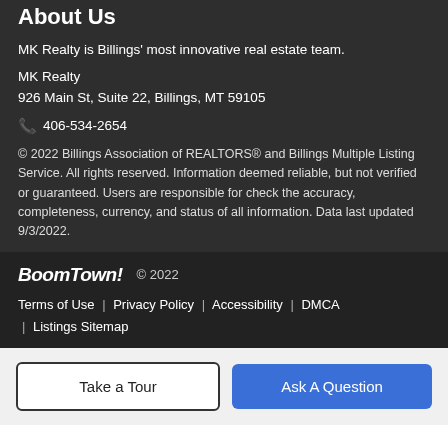About Us
MK Realty is Billings' most innovative real estate team.
MK Realty
926 Main St, Suite 22, Billings, MT 59105
📞 406-534-2654
© 2022 Billings Association of REALTORS® and Billings Multiple Listing Service. All rights reserved. Information deemed reliable, but not verified or guaranteed. Users are responsible for check the accuracy, completeness, currency, and status of all information. Data last updated 9/3/2022.
BoomTown! © 2022
Terms of Use | Privacy Policy | Accessibility | DMCA | Listings Sitemap
Take a Tour
Ask A Question